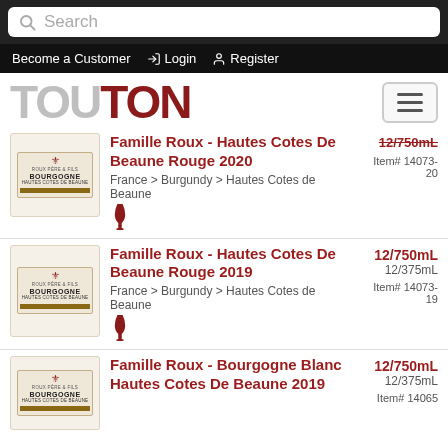Search
Become a Customer  Login  Register
[Figure (logo): TOUTON logo with TOU in grey and TON in dark red]
Famille Roux - Hautes Cotes De Beaune Rouge 2020, France > Burgundy > Hautes Cotes de Beaune, Item# 14073-20
Famille Roux - Hautes Cotes De Beaune Rouge 2019, France > Burgundy > Hautes Cotes de Beaune, 12/750mL, 12/375mL, Item# 14073-19
Famille Roux - Bourgogne Blanc Hautes Cotes De Beaune 2019, 12/750mL, 12/375mL, Item# 14065